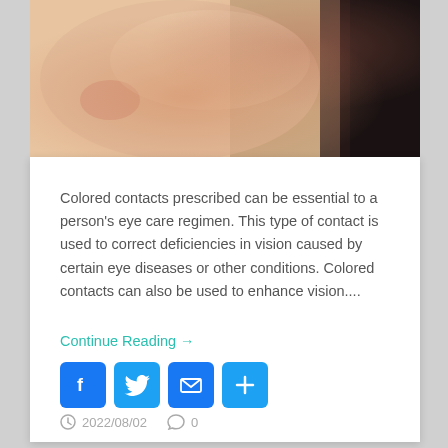[Figure (photo): Close-up photo of a person's eye/cheek area with dark hair visible on the right side]
Colored contacts prescribed can be essential to a person's eye care regimen. This type of contact is used to correct deficiencies in vision caused by certain eye diseases or other conditions. Colored contacts can also be used to enhance vision....
Continue Reading →
[Figure (infographic): Social sharing buttons: Facebook, Twitter, Email, and Share/Plus icons]
2022/08/02  0